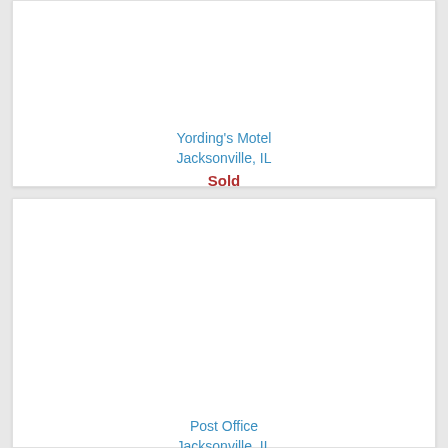[Figure (photo): Card with image area for Yording's Motel, Jacksonville, IL - image area appears blank/white]
Yording's Motel
Jacksonville, IL
Sold
[Figure (photo): Card with image area for Post Office, Jacksonville, IL - image area appears blank/white]
Post Office
Jacksonville, IL